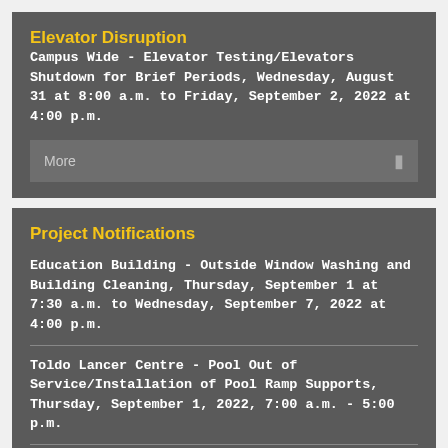Elevator Disruption
Campus Wide - Elevator Testing/Elevators Shutdown for Brief Periods, Wednesday, August 31 at 8:00 a.m. to Friday, September 2, 2022 at 4:00 p.m.
More
Project Notifications
Education Building - Outside Window Washing and Building Cleaning, Thursday, September 1 at 7:30 a.m. to Wednesday, September 7, 2022 at 4:00 p.m.
Toldo Lancer Centre - Pool Out of Service/Installation of Pool Ramp Supports, Thursday, September 1, 2022, 7:00 a.m. - 5:00 p.m.
Between Patricia Road and Sunset Avenue (North of